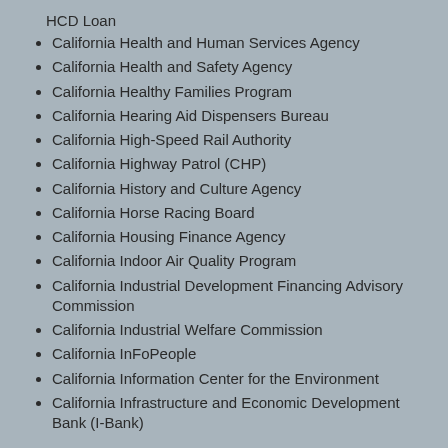HCD Loan
California Health and Human Services Agency
California Health and Safety Agency
California Healthy Families Program
California Hearing Aid Dispensers Bureau
California High-Speed Rail Authority
California Highway Patrol (CHP)
California History and Culture Agency
California Horse Racing Board
California Housing Finance Agency
California Indoor Air Quality Program
California Industrial Development Financing Advisory Commission
California Industrial Welfare Commission
California InFoPeople
California Information Center for the Environment
California Infrastructure and Economic Development Bank (I-Bank)